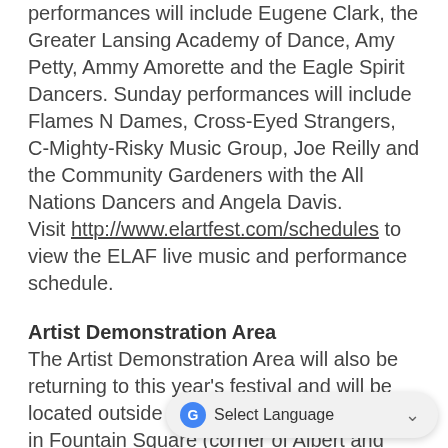performances will include Eugene Clark, the Greater Lansing Academy of Dance, Amy Petty, Ammy Amorette and the Eagle Spirit Dancers. Sunday performances will include Flames N Dames, Cross-Eyed Strangers, C-Mighty-Risky Music Group, Joe Reilly and the Community Gardeners with the All Nations Dancers and Angela Davis.
Visit http://www.elartfest.com/schedules to view the ELAF live music and performance schedule.
Artist Demonstration Area
The Artist Demonstration Area will also be returning to this year's festival and will be located outside of the East Lansing Marriott in Fountain Square (corner of Albert and M.A.C. avenues). Festival goers are encouraged to stop by for several hands-on arts activities offered by GL Reality Labs, Con Room, the East Lansing High School Art Department, the East Lansing Public Library